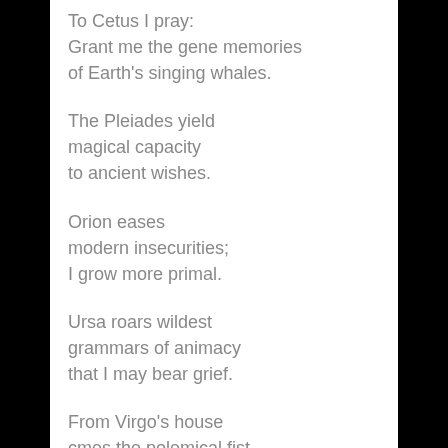To Cetus I pray:
Grant me the gene memories
of Earth's singing whales.
The Pleiades yield
magical capacity
to ancient wishes.
Orion eases
modern insecurities;
I grow more primal.
Ursa roars wildest
grammars of animacy
that I may bear grief.
From Virgo's house
cmes the polemical fist
of a new fate that...